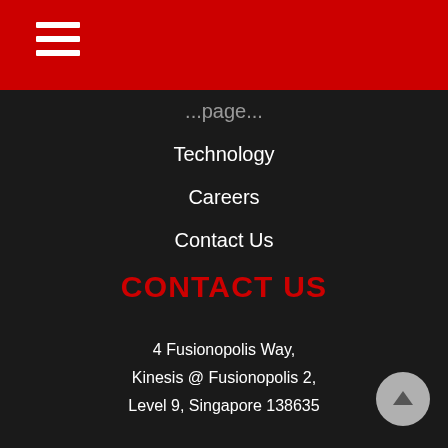Technology
Careers
Contact Us
CONTACT US
4 Fusionopolis Way, Kinesis @ Fusionopolis 2, Level 9, Singapore 138635
+65-6407-4256/+65-6407-4040
namicinfo@namic.sg
STAY UPDATED